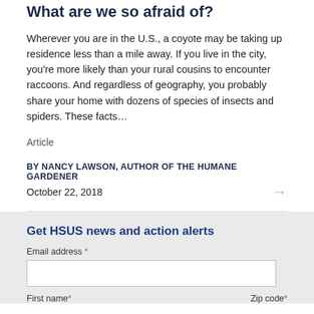What are we so afraid of?
Wherever you are in the U.S., a coyote may be taking up residence less than a mile away. If you live in the city, you're more likely than your rural cousins to encounter raccoons. And regardless of geography, you probably share your home with dozens of species of insects and spiders. These facts…
Article
BY NANCY LAWSON, AUTHOR OF THE HUMANE GARDENER
October 22, 2018
Get HSUS news and action alerts
Email address *
First name *
Zip code *